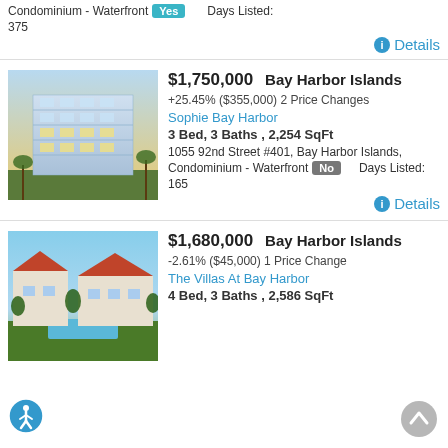Condominium - Waterfront Yes  Days Listed: 375
Details
$1,750,000   Bay Harbor Islands
+25.45% ($355,000) 2 Price Changes
Sophie Bay Harbor
3 Bed, 3 Baths , 2,254 SqFt
1055 92nd Street #401, Bay Harbor Islands,
Condominium - Waterfront No  Days Listed: 165
Details
[Figure (photo): Modern glass condominium building at dusk with blue sky]
$1,680,000   Bay Harbor Islands
-2.61% ($45,000) 1 Price Change
The Villas At Bay Harbor
4 Bed, 3 Baths , 2,586 SqFt
[Figure (photo): Aerial view of villa complex with red tile roofs and pool surrounded by trees]